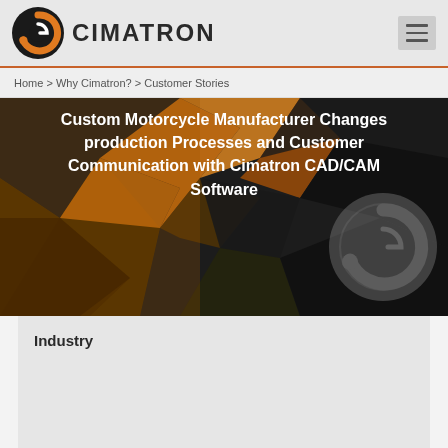[Figure (logo): Cimatron logo: black circle with orange/white stylized G icon, followed by CIMATRON text in dark gray]
Home > Why Cimatron? > Customer Stories
[Figure (photo): Dark hero banner with geometric polygon background in orange/amber and black tones, featuring Cimatron watermark logo on the right]
Custom Motorcycle Manufacturer Changes production Processes and Customer Communication with Cimatron CAD/CAM Software
Industry